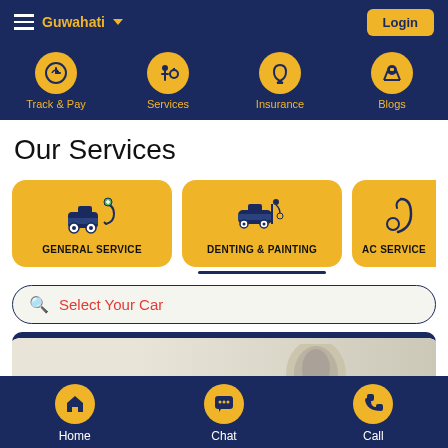Guwahati | Login
[Figure (screenshot): Navigation bar with Track & Pay, Services, Insurance, Blogs icons]
Our Services
[Figure (screenshot): Service category cards: GENERAL SERVICE, DENTING & PAINTING, AC SERVICE (partially visible)]
Select Your Car
[Figure (photo): Partially visible banner with a mechanical part (AC service component)]
Home | Chat | Call